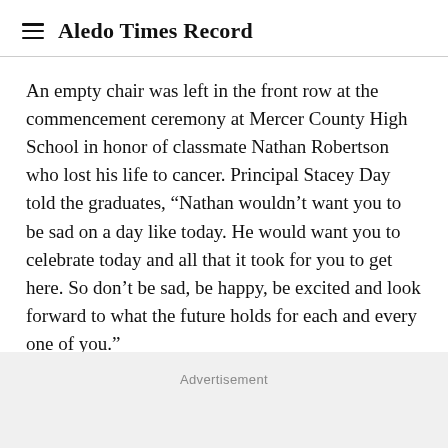Aledo Times Record
An empty chair was left in the front row at the commencement ceremony at Mercer County High School in honor of classmate Nathan Robertson who lost his life to cancer. Principal Stacey Day told the graduates, “Nathan wouldn’t want you to be sad on a day like today. He would want you to celebrate today and all that it took for you to get here. So don’t be sad, be happy, be excited and look forward to what the future holds for each and every one of you.”
Advertisement